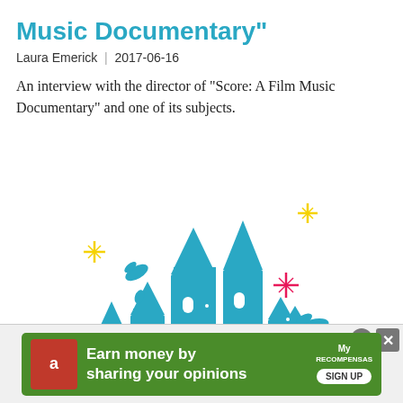Music Documentary”
Laura Emerick  |  2017-06-16
An interview with the director of "Score: A Film Music Documentary" and one of its subjects.
[Figure (illustration): Disney castle silhouette illustration in teal/blue with Disney character silhouettes and colorful sparkle stars in yellow, pink, and cyan]
[Figure (screenshot): Advertisement banner: green background with Amazon logo icon, text 'Earn money by sharing your opinions' with MyRecompensas brand logo and SIGN UP button]